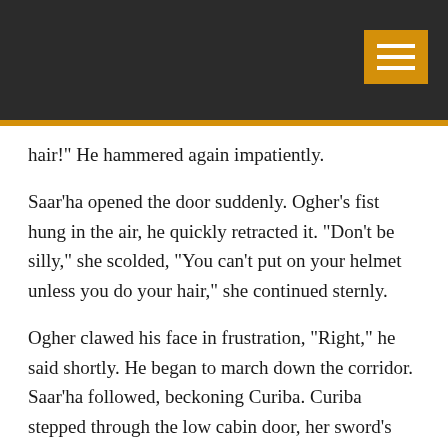hair!" He hammered again impatiently.
Saar'ha opened the door suddenly. Ogher's fist hung in the air, he quickly retracted it. "Don't be silly," she scolded, "You can't put on your helmet unless you do your hair," she continued sternly.
Ogher clawed his face in frustration, "Right," he said shortly. He began to march down the corridor. Saar'ha followed, beckoning Curiba. Curiba stepped through the low cabin door, her sword's pommel caught on the door frame, nearly knocking her down. Tyr'uc exiting opposite, was just in time to witness this. He couldn't help but laugh. Curiba had to carefully angle her way out, peering up at the hilt